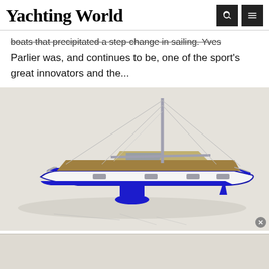Yachting World
boats that precipitated a step-change in sailing. Yves Parlier was, and continues to be, one of the sport's great innovators and the...
[Figure (photo): 3D rendering of a modern sailing yacht with a blue hull, wooden deck, tall mast with rigging, and a T-keel with blue bulb, shown from the starboard side against a light grey background.]